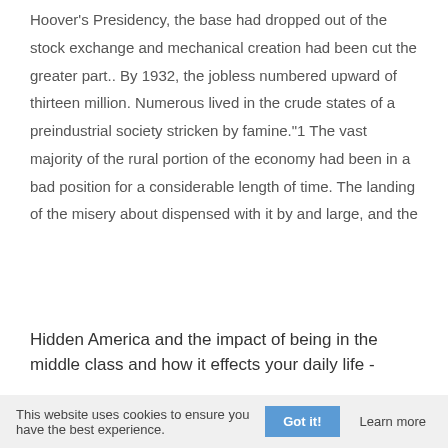Hoover's Presidency, the base had dropped out of the stock exchange and mechanical creation had been cut the greater part.. By 1932, the jobless numbered upward of thirteen million. Numerous lived in the crude states of a preindustrial society stricken by famine."1 The vast majority of the rural portion of the economy had been in a bad position for a considerable length of time. The landing of the misery about dispensed with it by and large, and the
Hidden America and the impact of being in the middle class and how it effects your daily life -
This website uses cookies to ensure you have the best experience.